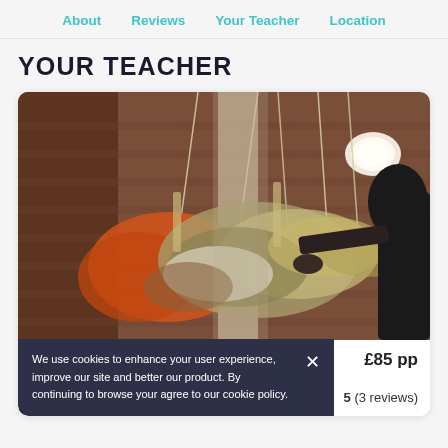About  Reviews  Your Teacher  Location
YOUR TEACHER
[Figure (photo): A person with dark hair working with hanging dried floral/botanical arrangements in a studio with exposed brick walls and a round pendant light]
We use cookies to enhance your user experience, improve our site and better our product. By continuing to browse your agree to our cookie policy.
£85 pp
5  (3 reviews)